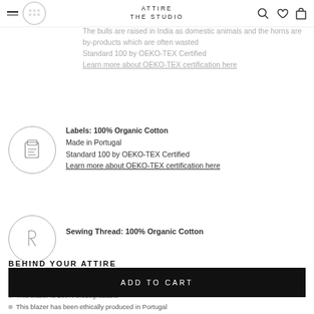ATTIRE THE STUDIO
Buttons: 100% Buffalo Horns
Made in Portugal
The bulls are raised in India as domestic animals and the horns are by-products which are often wasted
Standard 100 by OEKO-TEX Certified
Learn more about OEKO-TEX certification here
[Figure (illustration): Circular icon with a label/tag illustration]
Labels: 100% Organic Cotton
Made in Portugal
Standard 100 by OEKO-TEX Certified
Learn more about OEKO-TEX certification here
[Figure (illustration): Circular icon with a thread/sewing illustration]
Sewing Thread: 100% Organic Cotton
BEHIND YOUR ATTIRE
This blazer is 100% biodegradable
ADD TO CART
This blazer has been ethically produced in Portugal